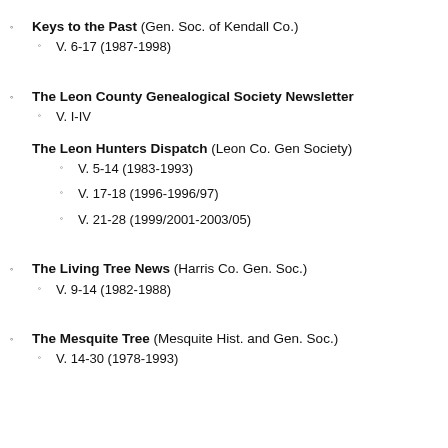Keys to the Past (Gen. Soc. of Kendall Co.)
V. 6-17 (1987-1998)
The Leon County Genealogical Society Newsletter
V. I-IV
The Leon Hunters Dispatch (Leon Co. Gen Society)
V. 5-14 (1983-1993)
V. 17-18 (1996-1996/97)
V. 21-28 (1999/2001-2003/05)
The Living Tree News (Harris Co. Gen. Soc.)
V. 9-14 (1982-1988)
The Mesquite Tree (Mesquite Hist. and Gen. Soc.)
V. 14-30 (1978-1993)